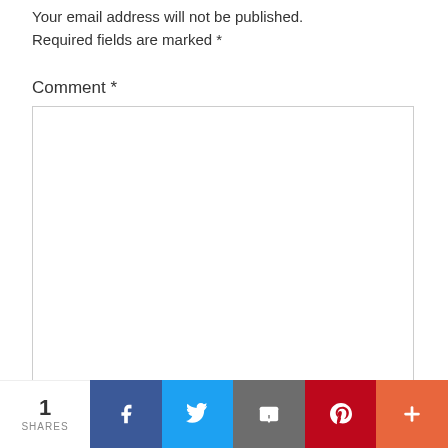Your email address will not be published. Required fields are marked *
Comment *
[Figure (other): Empty comment text area input box with resize handle]
Name *
[Figure (infographic): Social share bar showing 1 SHARES with buttons for Facebook, Twitter, Email, Pinterest, and More (+)]